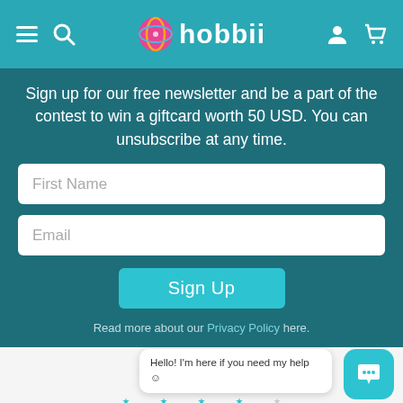hobbii navigation bar with menu, search, logo, account, and cart icons
Sign up for our free newsletter and be a part of the contest to win a giftcard worth 50 USD. You can unsubscribe at any time.
First Name
Email
Sign Up
Read more about our Privacy Policy here.
Hello! I'm here if you need my help ☺
Excellent